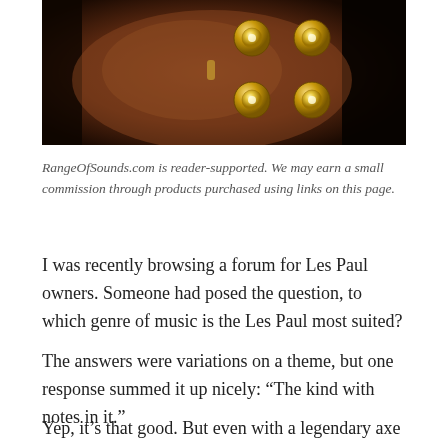[Figure (photo): Close-up photo of a Gibson Les Paul guitar body showing gold control knobs on a dark reddish-brown finish, with black background.]
RangeOfSounds.com is reader-supported. We may earn a small commission through products purchased using links on this page.
I was recently browsing a forum for Les Paul owners. Someone had posed the question, to which genre of music is the Les Paul most suited?
The answers were variations on a theme, but one response summed it up nicely: “The kind with notes in it.”
Yep, it’s that good. But even with a legendary axe like the Gibson Les Paul, you still need to take care of the basics